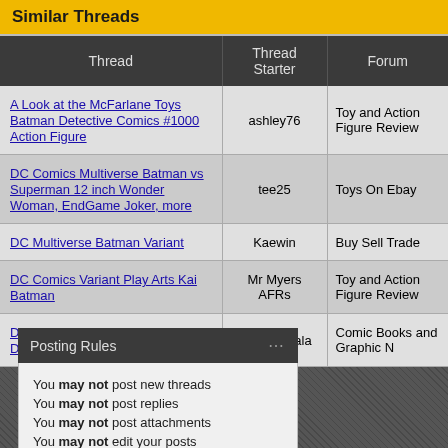Similar Threads
| Thread | Thread Starter | Forum |
| --- | --- | --- |
| A Look at the McFarlane Toys Batman Detective Comics #1000 Action Figure | ashley76 | Toy and Action Figure Review |
| DC Comics Multiverse Batman vs Superman 12 inch Wonder Woman, EndGame Joker, more | tee25 | Toys On Ebay |
| DC Multiverse Batman Variant | Kaewin | Buy Sell Trade |
| DC Comics Variant Play Arts Kai Batman | Mr Myers AFRs | Toy and Action Figure Review |
| DC New 52 Detective Comics Discussion | Tony_Bacala | Comic Books and Graphic N |
Posting Rules
You may not post new threads
You may not post replies
You may not post attachments
You may not edit your posts